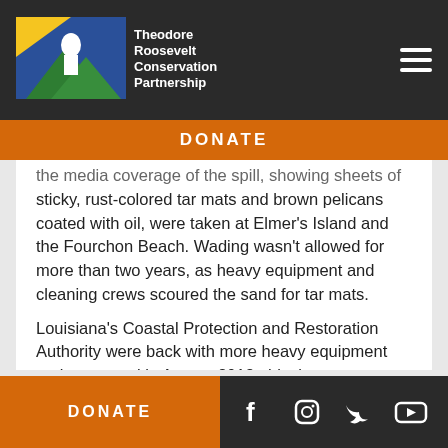[Figure (logo): Theodore Roosevelt Conservation Partnership logo with mountain and wildlife imagery]
DONATE
the media coverage of the spill, showing sheets of sticky, rust-colored tar mats and brown pelicans coated with oil, were taken at Elmer's Island and the Fourchon Beach. Wading wasn't allowed for more than two years, as heavy equipment and cleaning crews scoured the sand for tar mats.
Louisiana's Coastal Protection and Restoration Authority were back with more heavy equipment and personnel in August 2013, this time to restore the beaches and dunes, rather than drag and sift them for oil. The project used about 8.4 million cubic yards of
DONATE